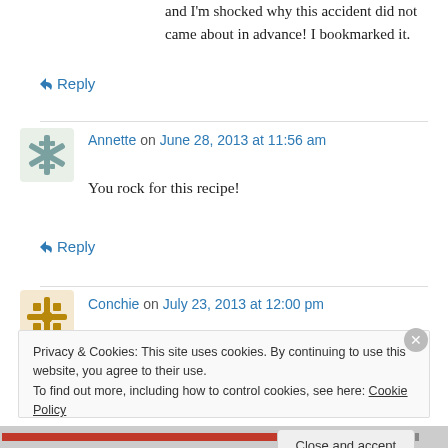and I'm shocked why this accident did not came about in advance! I bookmarked it.
↪ Reply
Annette on June 28, 2013 at 11:56 am
You rock for this recipe!
↪ Reply
Conchie on July 23, 2013 at 12:00 pm
Privacy & Cookies: This site uses cookies. By continuing to use this website, you agree to their use. To find out more, including how to control cookies, see here: Cookie Policy
Close and accept